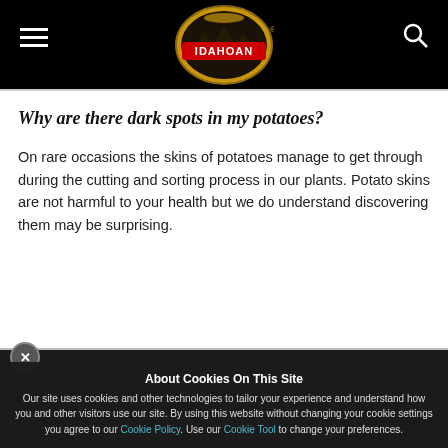[Figure (logo): Idahoan brand logo — gold oval with red banner and white text reading IDAHOAN, mountain scenery engraved style]
Why are there dark spots in my potatoes?
On rare occasions the skins of potatoes manage to get through during the cutting and sorting process in our plants. Potato skins are not harmful to your health but we do understand discovering them may be surprising.
About Cookies On This Site
Our site uses cookies and other technologies to tailor your experience and understand how you and other visitors use our site. By using this website without changing your cookie settings you agree to our Cookie Policy. Use our Cookie Tool to change your preferences.